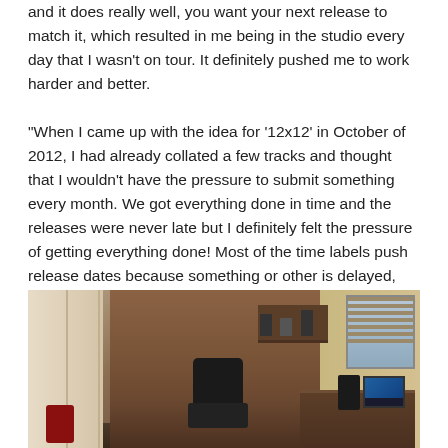and it does really well, you want your next release to match it, which resulted in me being in the studio every day that I wasn't on tour. It definitely pushed me to work harder and better.
"When I came up with the idea for '12x12' in October of 2012, I had already collated a few tracks and thought that I wouldn't have the pressure to submit something every month. We got everything done in time and the releases were never late but I definitely felt the pressure of getting everything done! Most of the time labels push release dates because something or other is delayed, but that really wasn't an option here, so as much as the pressure was on, it felt great to have something ready to go every month that was not a filler."
[Figure (photo): Interior photo of a recording studio showing a person in black clothing bending over near a chair, with wooden cabinetry, shelving with equipment, a window with blinds on the right, a desk with a computer monitor and audio equipment.]